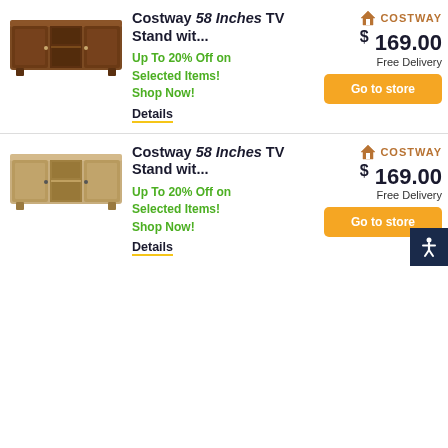[Figure (photo): Dark walnut/brown Costway 58-inch TV stand with two doors and open shelf center]
Costway 58 Inches TV Stand wit...
Up To 20% Off on Selected Items! Shop Now!
Details
[Figure (logo): Costway brand logo with house icon]
$169.00
Free Delivery
Go to store
[Figure (photo): Light oak/blonde Costway 58-inch TV stand with two doors and open shelf center]
Costway 58 Inches TV Stand wit...
Up To 20% Off on Selected Items! Shop Now!
Details
[Figure (logo): Costway brand logo with house icon]
$169.00
Free Delivery
Go to store